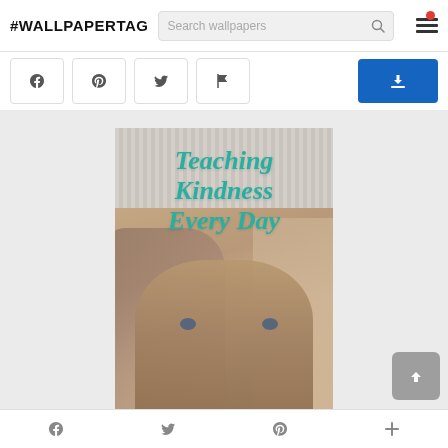#WALLPAPERTAG
[Figure (screenshot): Website screenshot showing #WALLPAPERTAG header with search bar and hamburger menu with red notification dot]
[Figure (photo): Photo of kittens with teal cursive text overlay reading 'Teaching Kindness Every Day']
Facebook, Twitter, Pinterest, and plus social share icons in bottom navigation bar